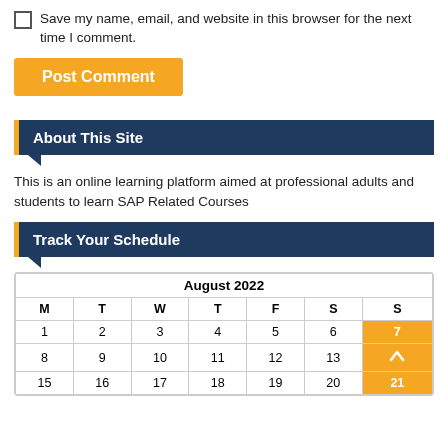Save my name, email, and website in this browser for the next time I comment.
Post Comment
About This Site
This is an online learning platform aimed at professional adults and students to learn SAP Related Courses
Track Your Schedule
| M | T | W | T | F | S | S |
| --- | --- | --- | --- | --- | --- | --- |
| 1 | 2 | 3 | 4 | 5 | 6 | 7 |
| 8 | 9 | 10 | 11 | 12 | 13 | 14 |
| 15 | 16 | 17 | 18 | 19 | 20 | 21 |